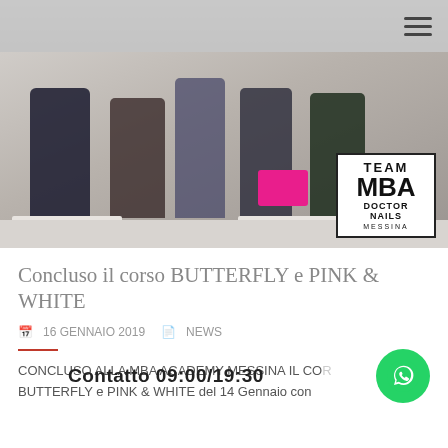[Figure (photo): Group photo of people in a nail academy classroom/workshop setting. A logo box in the bottom right reads TEAM MBA DOCTOR NAILS MESSINA. Navigation hamburger menu visible in top right corner.]
Concluso il corso BUTTERFLY e PINK & WHITE
16 GENNAIO 2019   NEWS
Contatto 09:00/19:30
CONCLUSO ALLA MBA ACADEMY MESSINA IL CO...
BUTTERFLY e PINK & WHITE del 14 Gennaio con